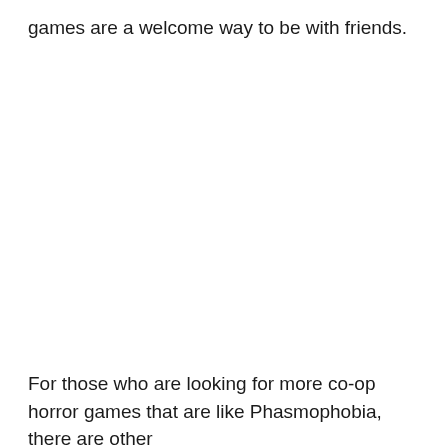games are a welcome way to be with friends.
For those who are looking for more co-op horror games that are like Phasmophobia, there are other